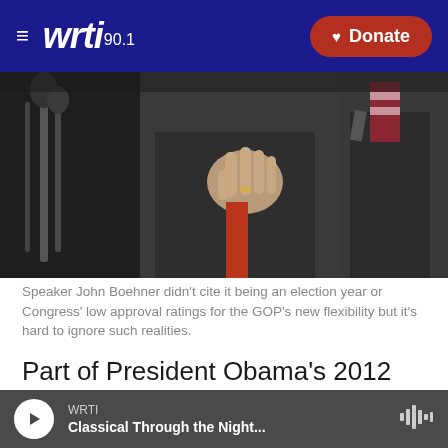WRTI 90.1  Donate
[Figure (photo): Photo of Speaker John Boehner at a press conference with microphones and other figures in suits visible]
Speaker John Boehner didn't cite it being an election year or Congress' low approval ratings for the GOP's new flexibility but it's hard to ignore such realities.
Part of President Obama's 2012 re-election strategy was to run against a do-nothing Congress. But congressional Republicans now appear determined to make that approach harder for him by coming to terms on some Democratic priorities
WRTI  Classical Through the Night...